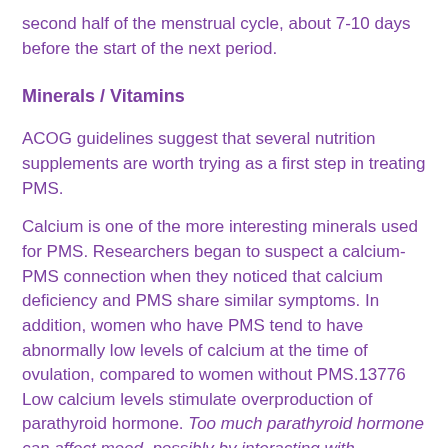second half of the menstrual cycle, about 7-10 days before the start of the next period.
Minerals / Vitamins
ACOG guidelines suggest that several nutrition supplements are worth trying as a first step in treating PMS.
Calcium is one of the more interesting minerals used for PMS. Researchers began to suspect a calcium-PMS connection when they noticed that calcium deficiency and PMS share similar symptoms. In addition, women who have PMS tend to have abnormally low levels of calcium at the time of ovulation, compared to women without PMS.13776 Low calcium levels stimulate overproduction of parathyroid hormone. Too much parathyroid hormone can affect mood, possibly by interacting with serotonin.13777,13778
Some evidence suggests that women who consume an average of 1283 mg/day of calcium from the diet have about a 30% lower risk of developing PMS, compared to women who consume 529 mg/day.13094